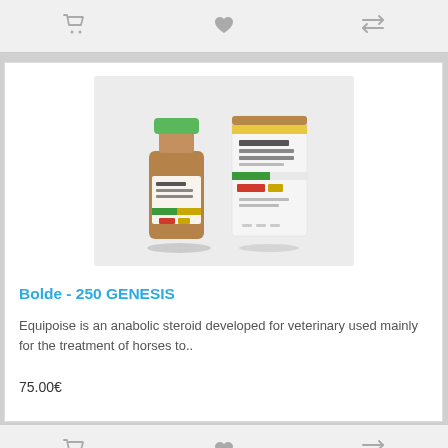[Figure (other): Top toolbar with cart, heart, and compare icons on grey background]
[Figure (photo): Product photo of Bolde-250 Genesis: a brown glass vial with green cap alongside a white product box, on light grey background]
Bolde - 250 GENESIS
Equipoise is an anabolic steroid developed for veterinary used mainly for the treatment of horses to..
75.00€
[Figure (other): Bottom toolbar with cart, heart, and compare icons on grey background]